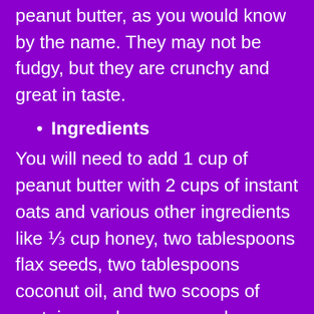peanut butter, as you would know by the name. They may not be fudgy, but they are crunchy and great in taste.
Ingredients
You will need to add 1 cup of peanut butter with 2 cups of instant oats and various other ingredients like ⅓ cup honey, two tablespoons flax seeds, two tablespoons coconut oil, and two scoops of protein powder; you can choose any that you like and two pinches of salt.
Method of making the bars
Add these ingredients to a bowl and mix it by putting salt. Make sure it is at room